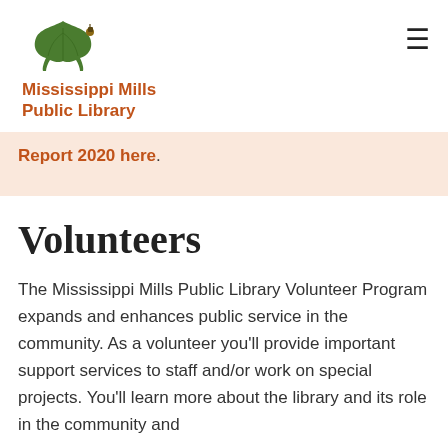Mississippi Mills Public Library
Report 2020 here.
Volunteers
The Mississippi Mills Public Library Volunteer Program expands and enhances public service in the community. As a volunteer you'll provide important support services to staff and/or work on special projects. You'll learn more about the library and its role in the community and...